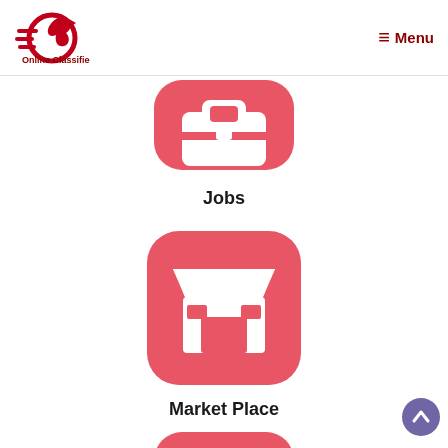[Figure (logo): Online Classified logo with red horse and circular arrow icon, text 'Online Classified' below in dark red]
≡ Menu
[Figure (illustration): Red rounded square icon with white briefcase/jobs symbol]
Jobs
[Figure (illustration): Red rounded square icon with white market stall / shop front symbol]
Market Place
[Figure (illustration): Partial red rounded square icon at bottom of page (third category, cropped)]
[Figure (illustration): Back to top button — purple/blue circle with upward chevron]